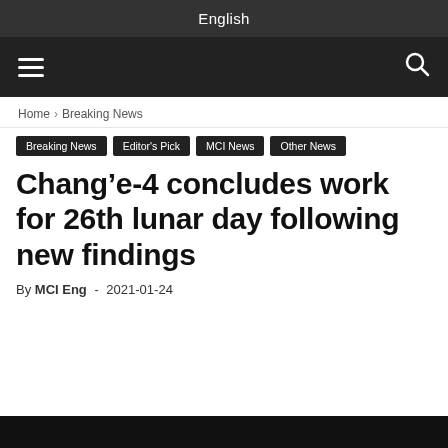English
Navigation bar with hamburger menu and search icon
Home › Breaking News
Breaking News
Editor's Pick
MCI News
Other News
Chang'e-4 concludes work for 26th lunar day following new findings
By MCI Eng - 2021-01-24